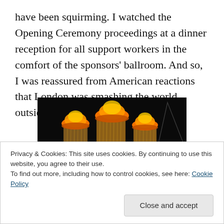have been squirming. I watched the Opening Ceremony proceedings at a dinner reception for all support workers in the comfort of the sponsors' ballroom. And so, I was reassured from American reactions that London was smashing the world outside. Arise Sir Daniel Boyle.
[Figure (photo): Photo of Olympic cauldron flames at the London 2012 Opening Ceremony, with glowing orange petals/torches rising with fire and purple lighting below]
Privacy & Cookies: This site uses cookies. By continuing to use this website, you agree to their use.
To find out more, including how to control cookies, see here: Cookie Policy